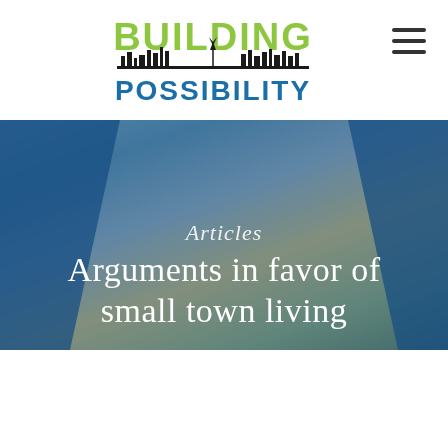[Figure (logo): Building Possibility logo with green BUILDING text and city skyline silhouette above blue POSSIBILITY text]
[Figure (illustration): Hamburger menu icon (three horizontal lines) in top right corner]
[Figure (photo): Hero banner image of two firefighters in yellow gear smiling, overlaid with blue tint. Left side shows partial figure of another person.]
Articles
Arguments in favor of small town living